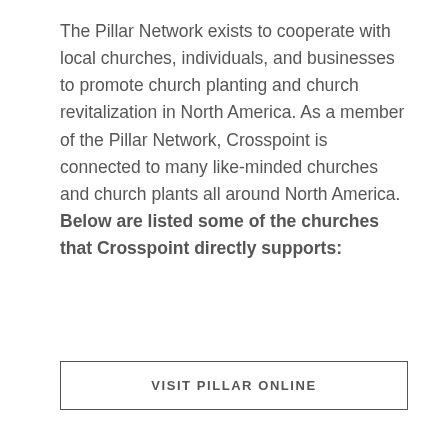The Pillar Network exists to cooperate with local churches, individuals, and businesses to promote church planting and church revitalization in North America. As a member of the Pillar Network, Crosspoint is connected to many like-minded churches and church plants all around North America. Below are listed some of the churches that Crosspoint directly supports:
VISIT PILLAR ONLINE